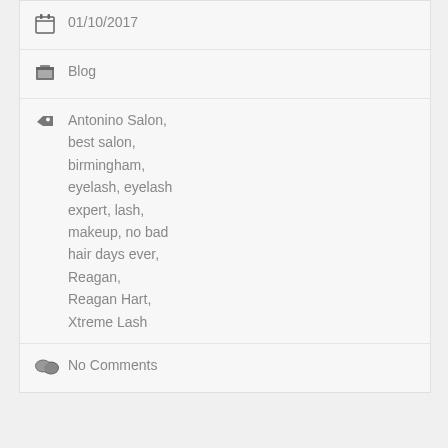01/10/2017
Blog
Antonino Salon, best salon, birmingham, eyelash, eyelash expert, lash, makeup, no bad hair days ever, Reagan, Reagan Hart, Xtreme Lash
No Comments